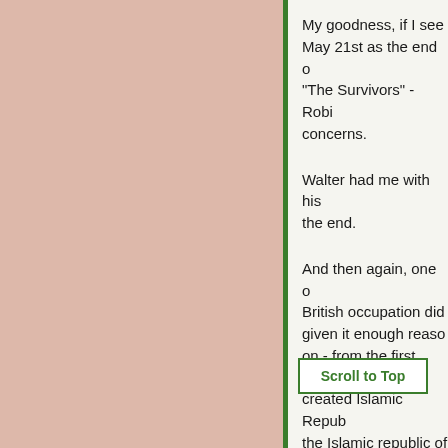My goodness, if I see May 21st as the end o "The Survivors" - Robi concerns.
Walter had me with his the end.
And then again, one o British occupation did given it enough reaso on - from the first India created Islamic Repub the Islamic republic of to her fugliness, opium persp gained its freedom wit